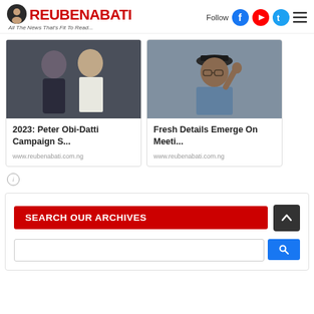ReubenAbati — All The News That's Fit To Read...
[Figure (photo): Two men standing together — one in dark clothing, one in white traditional attire]
2023: Peter Obi-Datti Campaign S...
www.reubenabati.com.ng
[Figure (photo): Man in hat and checkered blazer raising his hand]
Fresh Details Emerge On Meeti...
www.reubenabati.com.ng
SEARCH OUR ARCHIVES